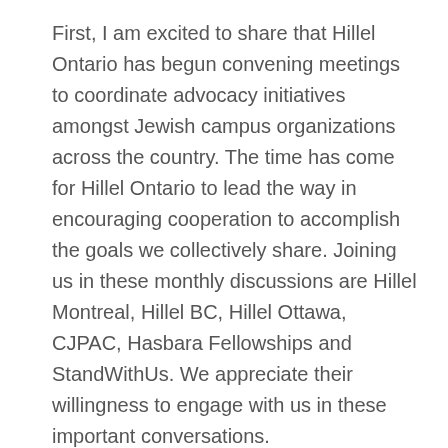First, I am excited to share that Hillel Ontario has begun convening meetings to coordinate advocacy initiatives amongst Jewish campus organizations across the country. The time has come for Hillel Ontario to lead the way in encouraging cooperation to accomplish the goals we collectively share. Joining us in these monthly discussions are Hillel Montreal, Hillel BC, Hillel Ottawa, CJPAC, Hasbara Fellowships and StandWithUs. We appreciate their willingness to engage with us in these important conversations.
Second, I want to update you on the